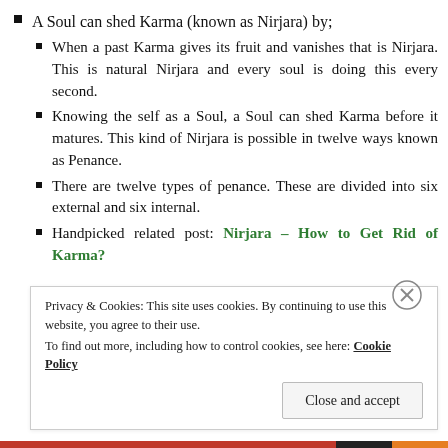A Soul can shed Karma (known as Nirjara) by;
When a past Karma gives its fruit and vanishes that is Nirjara. This is natural Nirjara and every soul is doing this every second.
Knowing the self as a Soul, a Soul can shed Karma before it matures. This kind of Nirjara is possible in twelve ways known as Penance.
There are twelve types of penance. These are divided into six external and six internal.
Handpicked related post: Nirjara – How to Get Rid of Karma?
Privacy & Cookies: This site uses cookies. By continuing to use this website, you agree to their use. To find out more, including how to control cookies, see here: Cookie Policy